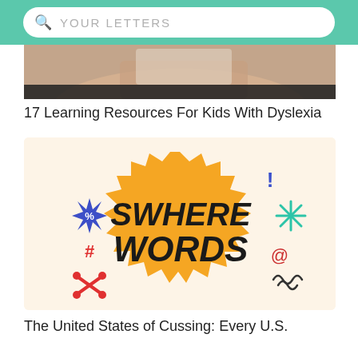YOUR LETTERS
[Figure (photo): Partial photo of a person holding something, cropped showing arms/hands]
17 Learning Resources For Kids With Dyslexia
[Figure (illustration): Illustrated image with a spiky orange burst shape containing bold text 'SWHERE WORDS' in black, surrounded by comic-style symbols: blue asterisk with %, red #, red crossbones, blue exclamation mark, teal starburst, red @ sign, and a squiggly shape, all on a cream background]
The United States of Cussing: Every U.S.